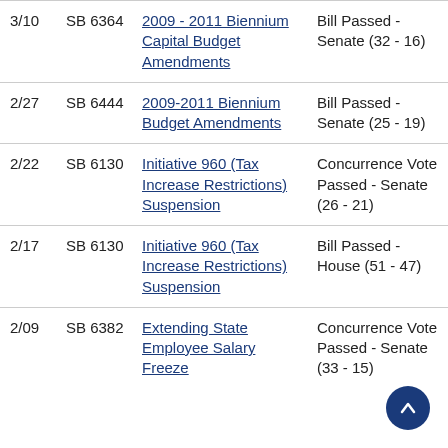| Date | Bill | Title | Result |
| --- | --- | --- | --- |
| 3/10 | SB 6364 | 2009 - 2011 Biennium Capital Budget Amendments | Bill Passed - Senate (32 - 16) |
| 2/27 | SB 6444 | 2009-2011 Biennium Budget Amendments | Bill Passed - Senate (25 - 19) |
| 2/22 | SB 6130 | Initiative 960 (Tax Increase Restrictions) Suspension | Concurrence Vote Passed - Senate (26 - 21) |
| 2/17 | SB 6130 | Initiative 960 (Tax Increase Restrictions) Suspension | Bill Passed - House (51 - 47) |
| 2/09 | SB 6382 | Extending State Employee Salary Freeze | Concurrence Vote Passed - Senate (33 - 15) |